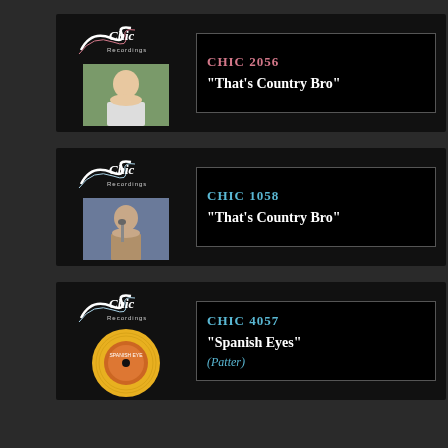[Figure (other): Chic Recordings music catalog card 1: CHIC 2056, That's Country Bro, with logo and female artist photo]
[Figure (other): Chic Recordings music catalog card 2: CHIC 1058, That's Country Bro, with logo and male artist photo]
[Figure (other): Chic Recordings music catalog card 3: CHIC 4057, Spanish Eyes (Patter), with logo and vinyl record image]